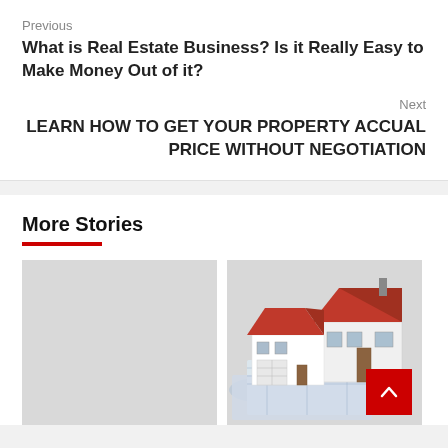Previous
What is Real Estate Business? Is it Really Easy to Make Money Out of it?
Next
LEARN HOW TO GET YOUR PROPERTY ACCUAL PRICE WITHOUT NEGOTIATION
More Stories
[Figure (photo): Light grey placeholder image for a story card]
[Figure (photo): Photo of red-roofed model houses placed on top of architectural blueprints]